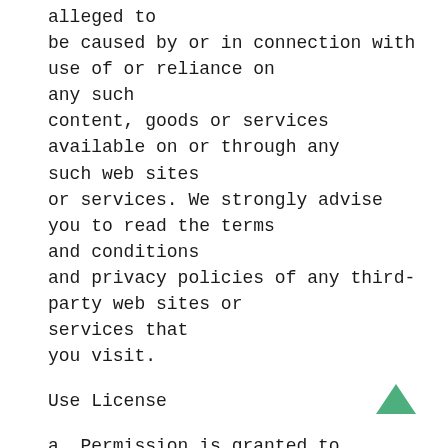alleged to be caused by or in connection with use of or reliance on any such content, goods or services available on or through any such web sites or services. We strongly advise you to read the terms and conditions and privacy policies of any third-party web sites or services that you visit.
Use License
a. Permission is granted to temporarily download one copy of the materials (information or software) on khmer-global.com’s web site for personal, non-commercial transitory viewing only. This is the grant of a license, not a